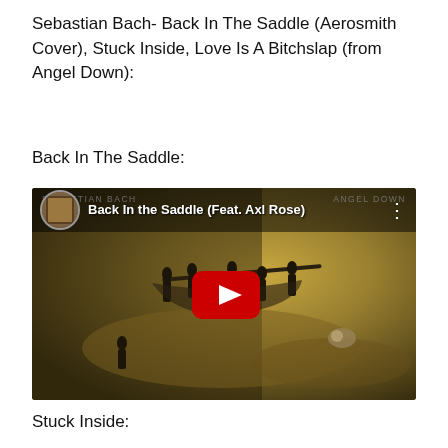Sebastian Bach- Back In The Saddle (Aerosmith Cover), Stuck Inside, Love Is A Bitchslap (from Angel Down):
Back In The Saddle:
[Figure (screenshot): YouTube video thumbnail for 'Back In the Saddle (Feat. Axl Rose)' by Sebastian Bach, showing the Angel Down album cover art with figures carrying a sheet, a red YouTube play button in the center, and the video title in the top bar.]
Stuck Inside: